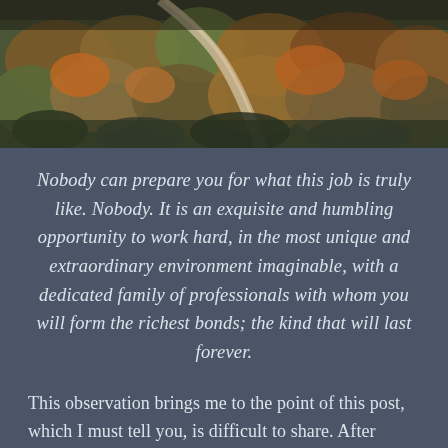[Figure (photo): Aerial photograph of a winding road or path through dense autumn forest with orange, red, and green foliage, viewed from above.]
Nobody can prepare you for what this job is truly like. Nobody. It is an exquisite and humbling opportunity to work hard, in the most unique and extraordinary environment imaginable, with a dedicated family of professionals with whom you will form the richest bonds; the kind that will last forever.
This observation brings me to the point of this post, which I must tell you, is difficult to share. After much thoughtful deliberation, and hours and weeks spent in prayer and